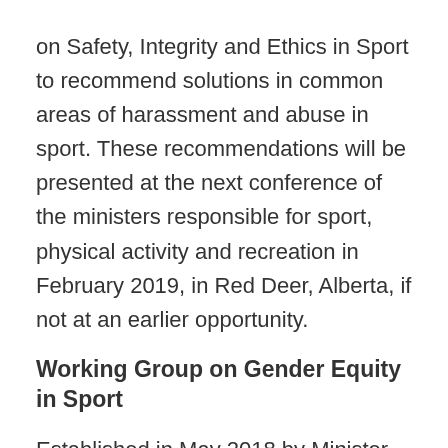on Safety, Integrity and Ethics in Sport to recommend solutions in common areas of harassment and abuse in sport. These recommendations will be presented at the next conference of the ministers responsible for sport, physical activity and recreation in February 2019, in Red Deer, Alberta, if not at an earlier opportunity.
Working Group on Gender Equity in Sport
Established in May 2018 by Minister Duncan, the new Working Group on Gender Equity in Sport, comprised of leaders in the sport community, will identify additional measures